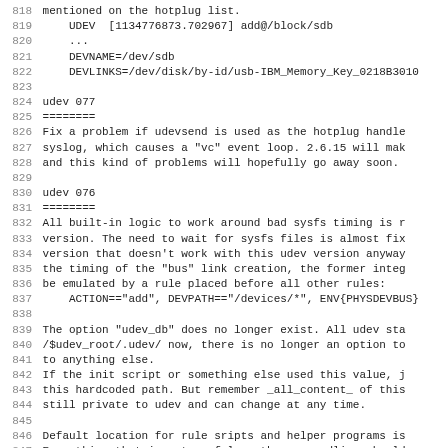818 mentioned on the hotplug list.
819     UDEV  [1134776873.702967] add@/block/sdb
820     ...
821     DEVNAME=/dev/sdb
822     DEVLINKS=/dev/disk/by-id/usb-IBM_Memory_Key_0218B3010
823
824 udev 077
825 ========
826 Fix a problem if udevsend is used as the hotplug handle
827 syslog, which causes a "vc" event loop. 2.6.15 will mak
828 and this kind of problems will hopefully go away soon.
829
830 udev 076
831 ========
832 All built-in logic to work around bad sysfs timing is r
833 version. The need to wait for sysfs files is almost fix
834 version that doesn't work with this udev version anyway
835 the timing of the "bus" link creation, the former integ
836 be emulated by a rule placed before all other rules:
837     ACTION=="add", DEVPATH=="/devices/*", ENV{PHYSDEVBUS}
838
839 The option "udev_db" does no longer exist. All udev sta
840 /$udev_root/.udev/ now, there is no longer an option to
841 to anything else.
842 If the init script or something else used this value, j
843 this hardcoded path. But remember _all_content_ of this
844 still private to udev and can change at any time.
845
846 Default location for rule sripts and helper programs is
847 Everything that is not useful on the commandline should
848 directory. Some of the helpers in the extras folder are
849 now. The rules need to be changed, to find the helpers
850